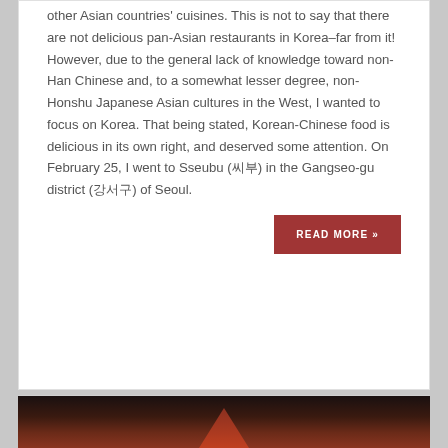other Asian countries' cuisines. This is not to say that there are not delicious pan-Asian restaurants in Korea–far from it! However, due to the general lack of knowledge toward non-Han Chinese and, to a somewhat lesser degree, non-Honshu Japanese Asian cultures in the West, I wanted to focus on Korea. That being stated, Korean-Chinese food is delicious in its own right, and deserved some attention. On February 25, I went to Sseubu (씨부) in the Gangseo-gu district (강서구) of Seoul.
READ MORE »
[Figure (photo): Dark background image, partially visible at bottom of page, showing what appears to be a reddish-brown triangular or tent-like shape against a very dark background.]